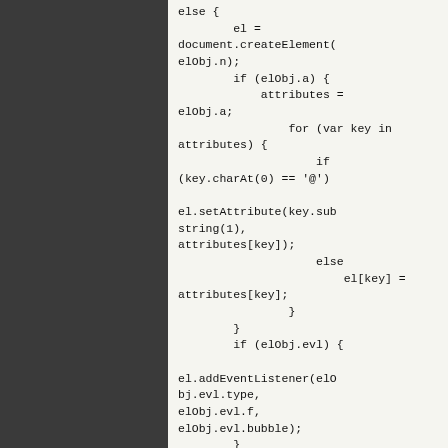else {
        el =
document.createElement(
elObj.n);
        if (elObj.a) {
            attributes =
elObj.a;
                for (var key in
attributes) {
                    if
(key.charAt(0) == '@')

el.setAttribute(key.sub
string(1),
attributes[key]);
                    else
                        el[key] =
attributes[key];
                }
        }
        if (elObj.evl) {

el.addEventListener(elO
bj.evl.type,
elObj.evl.f,
elObj.evl.bubble);
        }